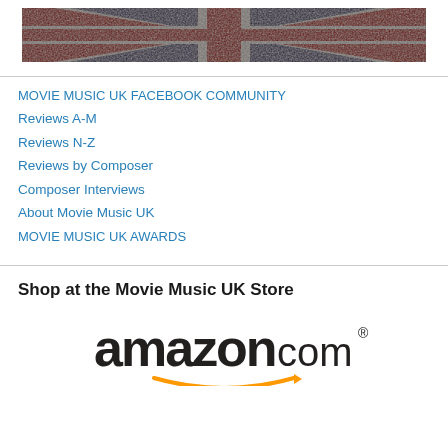[Figure (photo): Union Jack (UK flag) image with distressed/grunge texture, showing red, white and blue colors.]
MOVIE MUSIC UK FACEBOOK COMMUNITY
Reviews A-M
Reviews N-Z
Reviews by Composer
Composer Interviews
About Movie Music UK
MOVIE MUSIC UK AWARDS
Shop at the Movie Music UK Store
[Figure (logo): Amazon.com logo with orange arrow/smile beneath the text.]